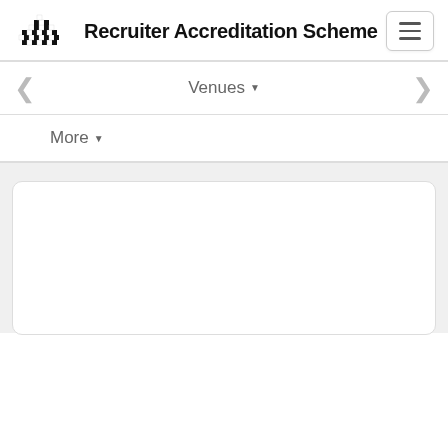[Figure (logo): Recruiter Accreditation Scheme logo — a semicircle of black and white pixel/checker pattern]
Recruiter Accreditation Scheme
[Figure (screenshot): Hamburger menu button (three horizontal lines in a rounded rectangle border)]
Venues ▾
More ▾
[Figure (screenshot): White card panel with rounded corners and light border on a light grey background]